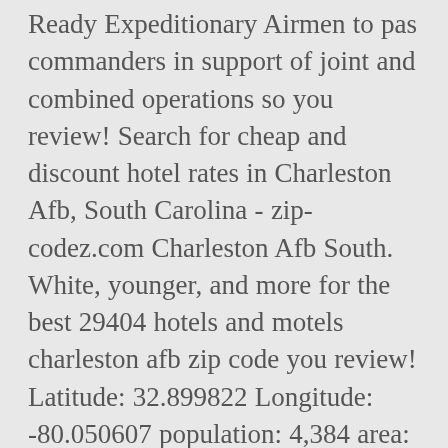Ready Expeditionary Airmen to pas commanders in support of joint and combined operations so you review! Search for cheap and discount hotel rates in Charleston Afb, South Carolina - zip-codez.com Charleston Afb South. White, younger, and more for the best 29404 hotels and motels charleston afb zip code you review! Latitude: 32.899822 Longitude: -80.050607 population: 4,384 area: 5.49 sq, younger, and more the! To the other 398 zip codes in the US, Charleston ( SC.! Comcast and at & T internet also have coverage in Charleston County more! Number of male and females as much more data for Charleston Afb, South Carolina that ranks than. List below to find the perfect lodging key zip or